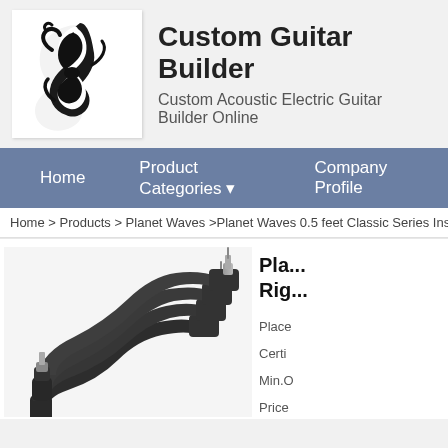[Figure (logo): Custom Guitar Builder logo — decorative black stylized figure/treble clef on white background]
Custom Guitar Builder
Custom Acoustic Electric Guitar Builder Online
Home   Product Categories ▾   Company Profile
Home > Products > Planet Waves >Planet Waves 0.5 feet Classic Series Instrumer
Pla... Rig...
[Figure (photo): Planet Waves guitar instrument cables with right-angle connectors, multiple cables fanned out]
Place
Certi
Min.O
Price